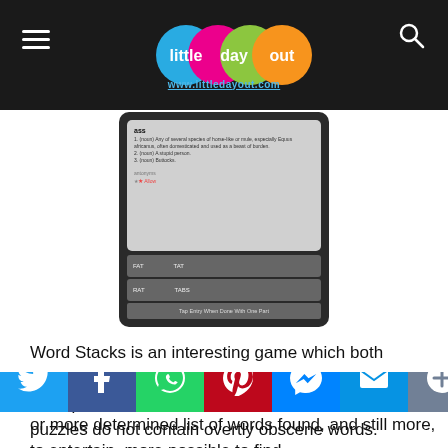little day out — www.littledayout.com
[Figure (screenshot): Mobile app screenshot showing Word Stacks game with dictionary definition of 'ass', word list rows (FAT/TAT, RAT/TABS), tap bar, and icon bar with star and numbers 20, 55.]
Word Stacks is an interesting game which both adults and kids can enjoy, especially if they like word puzzles. The words which can be found in the puzzles do not contain overtly obscene words. However, you come across words such as “ass” – which is after all a legitimate word.
or more determined list of words found, and still more, to entertain, more possible to find...